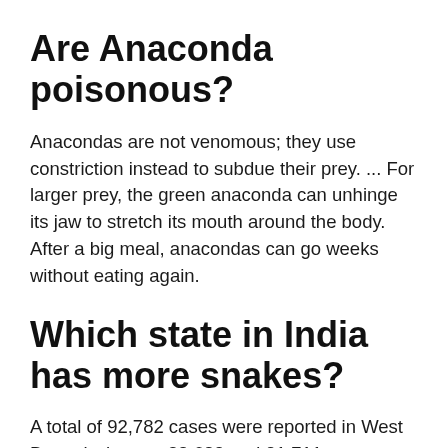Are Anaconda poisonous?
Anacondas are not venomous; they use constriction instead to subdue their prey. ... For larger prey, the green anaconda can unhinge its jaw to stretch its mouth around the body. After a big meal, anacondas can go weeks without eating again.
Which state in India has more snakes?
A total of 92,782 cases were reported in West Bengal whereas 38,682 and 21,711 cases were reported in Odisha and Uttar Pradesh respectively. Interestingly, Andhra Pradesh which registered the second-highest